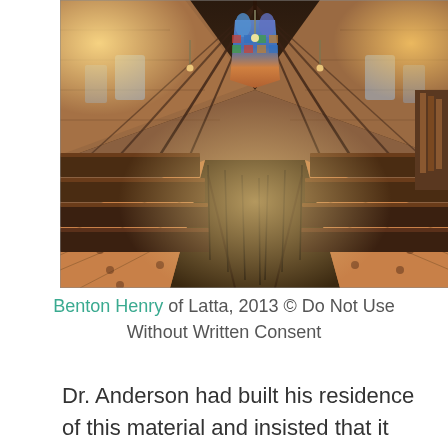[Figure (photo): Interior of a Gothic-style church nave showing dark wooden pews arranged in rows on either side of a central aisle. The aisle leads toward a stained glass window at the far end. The ceiling features pointed arched wooden beams. Chandeliers and wall sconces provide warm lighting. The floor near the front has a decorative tile pattern.]
Benton Henry of Latta, 2013 © Do Not Use Without Written Consent
Dr. Anderson had built his residence of this material and insisted that it was extremely durable as well as affordable. The